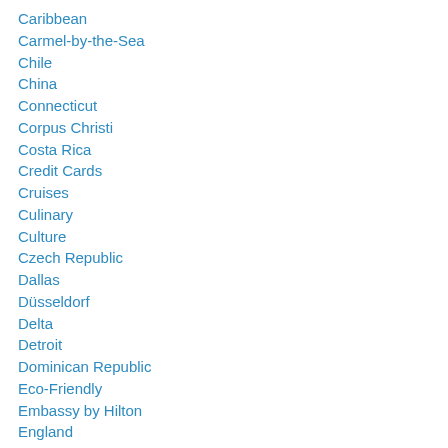Caribbean
Carmel-by-the-Sea
Chile
China
Connecticut
Corpus Christi
Costa Rica
Credit Cards
Cruises
Culinary
Culture
Czech Republic
Dallas
Düsseldorf
Delta
Detroit
Dominican Republic
Eco-Friendly
Embassy by Hilton
England